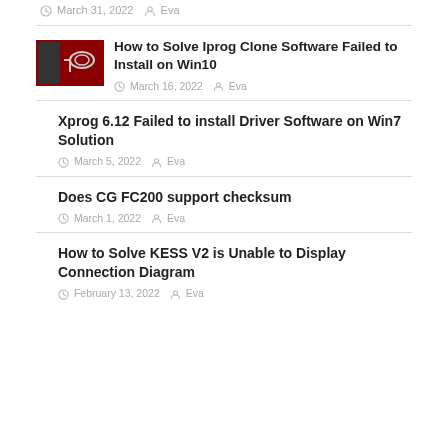March 31, 2022  Eva
How to Solve Iprog Clone Software Failed to Install on Win10
March 16, 2022  Eva
Xprog 6.12 Failed to install Driver Software on Win7 Solution
March 5, 2022  Eva
Does CG FC200 support checksum
March 1, 2022  Eva
How to Solve KESS V2 is Unable to Display Connection Diagram
February 13, 2022  Eva